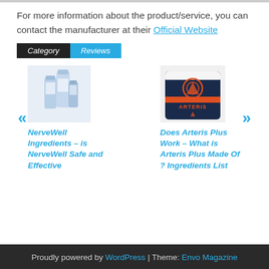For more information about the product/service, you can contact the manufacturer at their Official Website
Category   Reviews
[Figure (photo): NerveWell product bottles/packaging]
NerveWell Ingredients – is NerveWell Safe and Effective
[Figure (photo): Arteris Plus supplement container with orange and dark navy blue label]
Does Arteris Plus Work – What is Arteris Plus Made Of ? Ingredients List
Proudly powered by WordPress | Theme: Envo Magazine